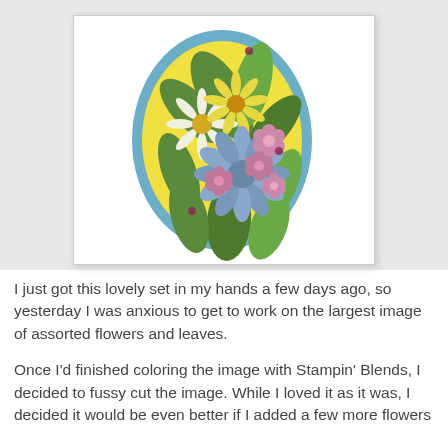[Figure (photo): A handmade greeting card featuring a floral bouquet with blue, pink, and white flowers and green leaves arranged on a yellow oval, framed by a blue oval, on a white card background. The card is displayed against a light gray background.]
I just got this lovely set in my hands a few days ago, so yesterday I was anxious to get to work on the largest image of assorted flowers and leaves.
Once I'd finished coloring the image with Stampin' Blends, I decided to fussy cut the image. While I loved it as it was, I decided it would be even better if I added a few more flowers